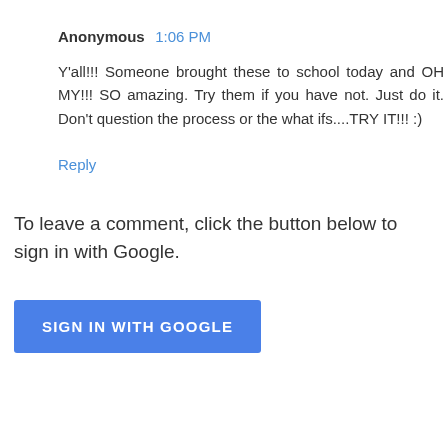Anonymous  1:06 PM
Y'all!!!  Someone brought these to school today and OH MY!!!  SO amazing. Try them if you have not. Just do it. Don't question the process or the what ifs....TRY IT!!! :)
Reply
To leave a comment, click the button below to sign in with Google.
SIGN IN WITH GOOGLE